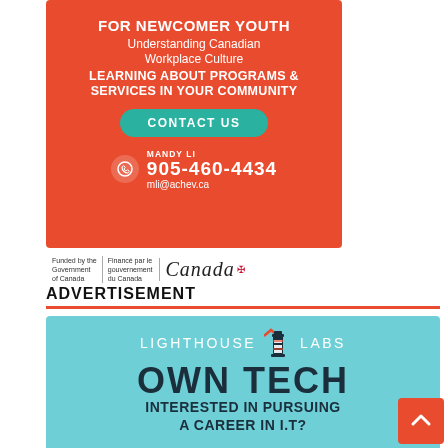[Figure (infographic): Orange advertisement banner for newcomer youth program by ACHEV. Text: FOR NEWCOMER YOUTH, Understanding Canadian Workplace Culture, LEARNING ABOUT PROGRAMS & SERVICES IN YOUR COMMUNITY, CONTACT US button, MANDY LI 905-460-4434 mli@achev.ca, funded by Government of Canada logo.]
ADVERTISEMENT
[Figure (infographic): Teal advertisement for Lighthouse Labs. Text: LIGHTHOUSE LABS, OWN TECH, INTERESTED IN PURSUING A CAREER IN I.T?]